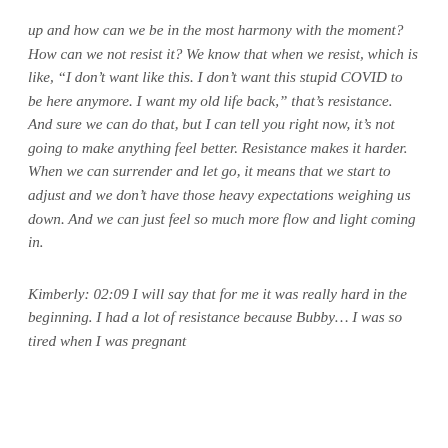up and how can we be in the most harmony with the moment? How can we not resist it? We know that when we resist, which is like, “I don’t want like this. I don’t want this stupid COVID to be here anymore. I want my old life back,” that’s resistance. And sure we can do that, but I can tell you right now, it’s not going to make anything feel better. Resistance makes it harder. When we can surrender and let go, it means that we start to adjust and we don’t have those heavy expectations weighing us down. And we can just feel so much more flow and light coming in.
Kimberly: 02:09 I will say that for me it was really hard in the beginning. I had a lot of resistance because Bubby... I was so tired when I was pregnant